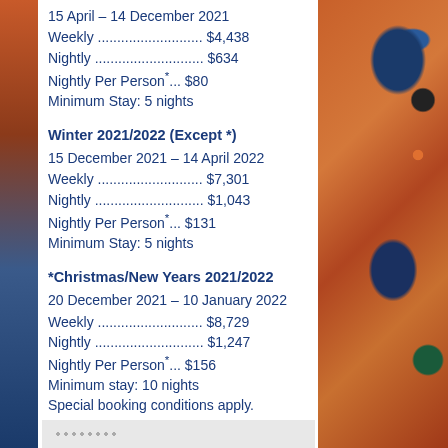15 April – 14 December 2021
Weekly ........................... $4,438
Nightly ........................... $634
Nightly Per Person*... $80
Minimum Stay: 5 nights
Winter 2021/2022 (Except *)
15 December 2021 – 14 April 2022
Weekly ........................... $7,301
Nightly ........................... $1,043
Nightly Per Person*... $131
Minimum Stay: 5 nights
*Christmas/New Years 2021/2022
20 December 2021 – 10 January 2022
Weekly ........................... $8,729
Nightly ........................... $1,247
Nightly Per Person*... $156
Minimum stay: 10 nights
Special booking conditions apply.
Summer 2022